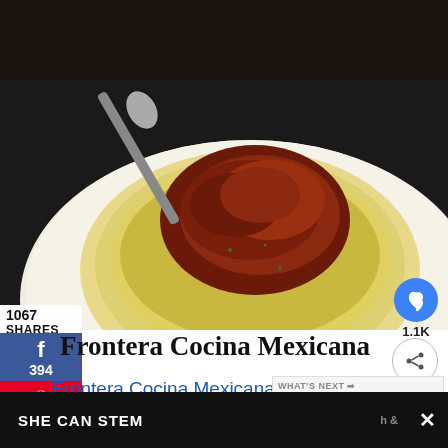[Figure (photo): Food photo showing a bowl of creamy grits or polenta topped with red braised meat and herbs, with a spoon, on a dark table background]
1067
SHARES
f
394
673
Yum
1.1K
Frontera Cocina Mexicana
Frontera Cocina Mexicana has both a … service restaurant and a to-go window at Disney
WHAT'S NEXT → HOW TO EAT GLUTEN-...
SHE CAN STEM